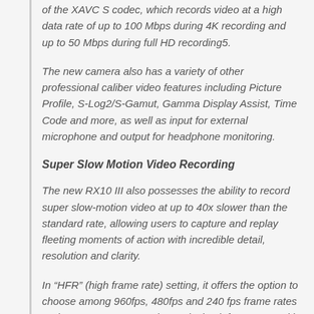of the XAVC S codec, which records video at a high data rate of up to 100 Mbps during 4K recording and up to 50 Mbps during full HD recording5.
The new camera also has a variety of other professional caliber video features including Picture Profile, S-Log2/S-Gamut, Gamma Display Assist, Time Code and more, as well as input for external microphone and output for headphone monitoring.
Super Slow Motion Video Recording
The new RX10 III also possesses the ability to record super slow-motion video at up to 40x slower than the standard rate, allowing users to capture and replay fleeting moments of action with incredible detail, resolution and clarity.
In “HFR” (high frame rate) setting, it offers the option to choose among 960fps, 480fps and 240 fps frame rates and among 60p, 30p and 24p playback formats6,7 with the option to use the movie record button as a ‘start